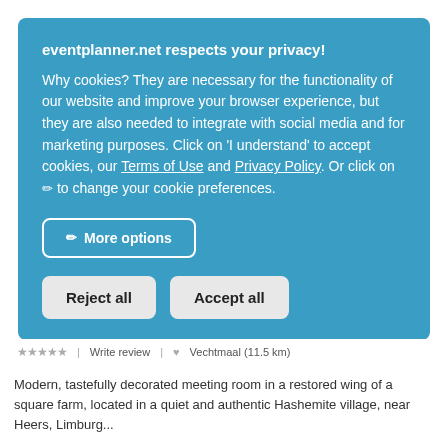eventplanner.net respects your privacy!
Why cookies? They are necessary for the functionality of our website and improve your browser experience, but they are also needed to integrate with social media and for marketing purposes. Click on 'I understand' to accept cookies, our Terms of Use and Privacy Policy. Or click on ✏ to change your cookie preferences.
✏ More options
Reject all   Accept all
★★★★★   |   Write review   |   ♥   Vecht maal (11.5 km)
Modern, tastefully decorated meeting room in a restored wing of a square farm, located in a quiet and authentic Hashemite village, near Heers, Limburg...